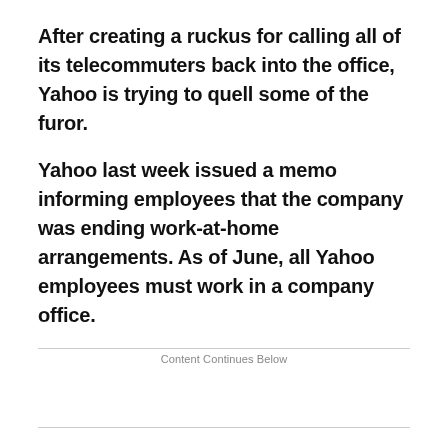After creating a ruckus for calling all of its telecommuters back into the office, Yahoo is trying to quell some of the furor.
Yahoo last week issued a memo informing employees that the company was ending work-at-home arrangements. As of June, all Yahoo employees must work in a company office.
Content Continues Below
The decision, which became public and was widely reported in the media after the memo was leaked, caused a stir inside and outside the tech sector.